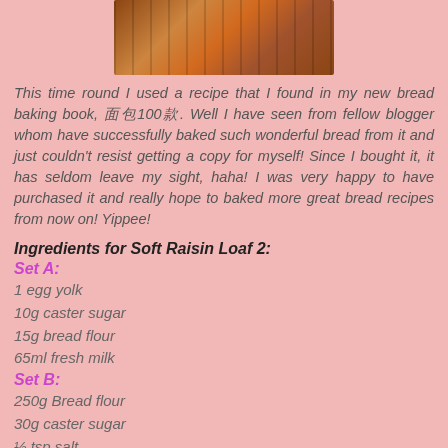[Figure (photo): Close-up photo of golden-brown baked bread on oven rack]
This time round I used a recipe that I found in my new bread baking book, 面包100款. Well I have seen from fellow blogger whom have successfully baked such wonderful bread from it and just couldn't resist getting a copy for myself! Since I bought it, it has seldom leave my sight, haha! I was very happy to have purchased it and really hope to baked more great bread recipes from now on! Yippee!
Ingredients for Soft Raisin Loaf 2:
Set A:
1 egg yolk
10g caster sugar
15g bread flour
65ml fresh milk
Set B:
250g Bread flour
30g caster sugar
½ tsp salt
4 tbl... (cut off)